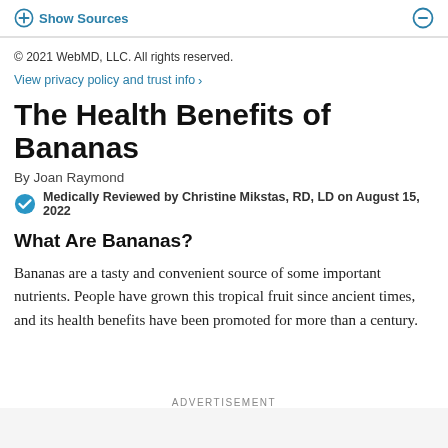Show Sources
© 2021 WebMD, LLC. All rights reserved.
View privacy policy and trust info >
The Health Benefits of Bananas
By Joan Raymond
Medically Reviewed by Christine Mikstas, RD, LD on August 15, 2022
What Are Bananas?
Bananas are a tasty and convenient source of some important nutrients. People have grown this tropical fruit since ancient times, and its health benefits have been promoted for more than a century.
ADVERTISEMENT